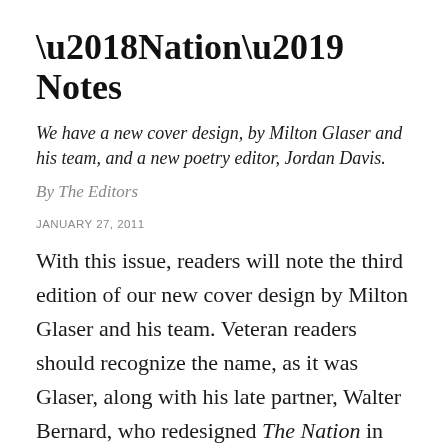‘Nation’ Notes
We have a new cover design, by Milton Glaser and his team, and a new poetry editor, Jordan Davis.
By The Editors
JANUARY 27, 2011
With this issue, readers will note the third edition of our new cover design by Milton Glaser and his team. Veteran readers should recognize the name, as it was Glaser, along with his late partner, Walter Bernard, who redesigned The Nation in 1978. We can say about this new cover what we said about our redesign then: “Many magazines give